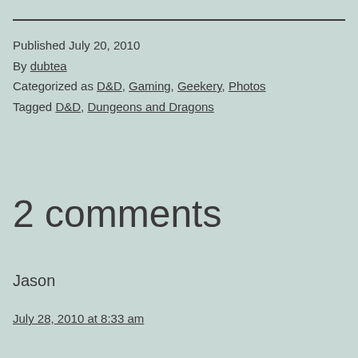Published July 20, 2010
By dubtea
Categorized as D&D, Gaming, Geekery, Photos
Tagged D&D, Dungeons and Dragons
2 comments
Jason
July 28, 2010 at 8:33 am